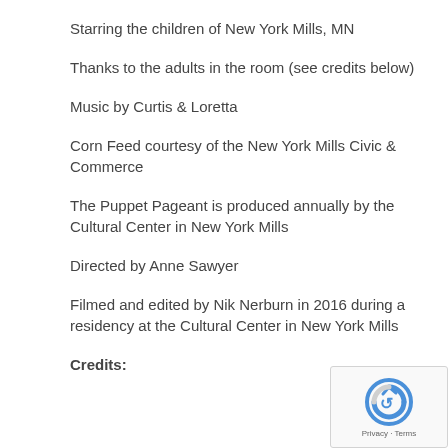Starring the children of New York Mills, MN
Thanks to the adults in the room (see credits below)
Music by Curtis & Loretta
Corn Feed courtesy of the New York Mills Civic & Commerce
The Puppet Pageant is produced annually by the Cultural Center in New York Mills
Directed by Anne Sawyer
Filmed and edited by Nik Nerburn in 2016 during a residency at the Cultural Center in New York Mills
Credits: